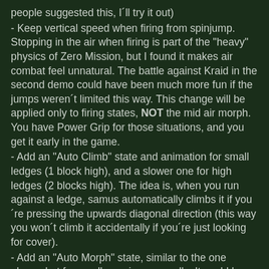people suggested this, I´ll try it out)
- Keep vertical speed when firing from spinjump. Stopping in the air when firing is part of the "heavy" physics of Zero Mission, but I found it makes air combat feel unnatural. The battle against Kraid in the second demo could have been much more fun if the jumps weren´t limited this way. This change will be applied only to firing states, NOT the mid air morph. You have Power Grip for those situations, and you get it early in the game.
- Add an "Auto Climb" state and animation for small ledges (1 block high), and a slower one for high ledges (2 blocks high). The idea is, when you run against a ledge, samus automatically climbs it if you´re pressing the upwards diagonal direction (this way you won´t climb it accidentally if you´re just looking for cover).
- Add an "Auto Morph" state, similar to the one above, but for small openings on walls. It could be triggered by using just the downwards diagonal direction while running against the opening.